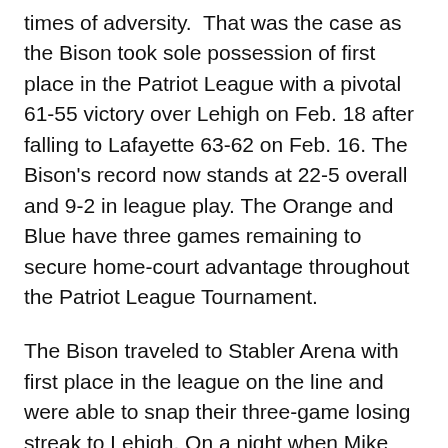times of adversity. That was the case as the Bison took sole possession of first place in the Patriot League with a pivotal 61-55 victory over Lehigh on Feb. 18 after falling to Lafayette 63-62 on Feb. 16. The Bison's record now stands at 22-5 overall and 9-2 in league play. The Orange and Blue have three games remaining to secure home-court advantage throughout the Patriot League Tournament.
The Bison traveled to Stabler Arena with first place in the league on the line and were able to snap their three-game losing streak to Lehigh. On a night when Mike Muscala '13 and Joe Willman '13 were in foul trouble in each half, the bench came up huge to give the team a much needed lift. Bryson Johnson '13 heated up in the second half and hit the layup with the...